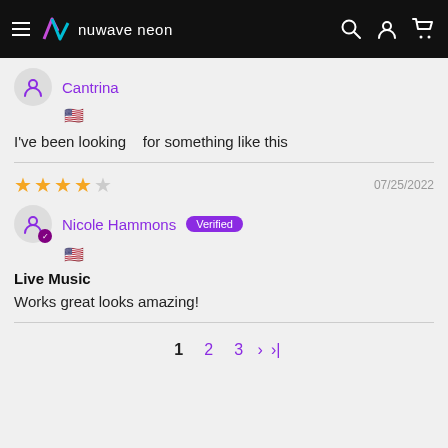[Figure (screenshot): NuWave Neon website header/navigation bar with hamburger menu, logo, and icons for search, account, and cart on a black background]
Cantrina 🇺🇸
I've been looking    for something like this
★★★★☆  07/25/2022
Nicole Hammons  Verified
🇺🇸
Live Music
Works great looks amazing!
1  2  3  ›  ›|